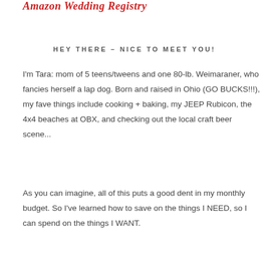Amazon Wedding Registry
HEY THERE – NICE TO MEET YOU!
I'm Tara: mom of 5 teens/tweens and one 80-lb. Weimaraner, who fancies herself a lap dog. Born and raised in Ohio (GO BUCKS!!!), my fave things include cooking + baking, my JEEP Rubicon, the 4x4 beaches at OBX, and checking out the local craft beer scene...
As you can imagine, all of this puts a good dent in my monthly budget. So I've learned how to save on the things I NEED, so I can spend on the things I WANT.